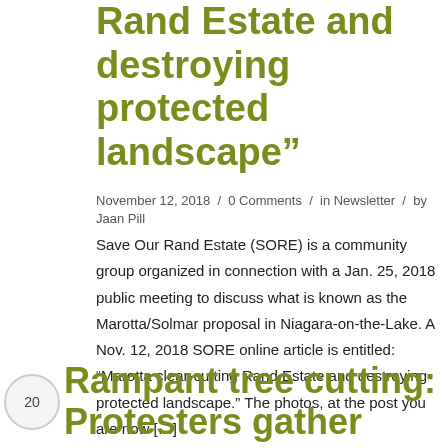Rand Estate and destroying protected landscape”
November 12, 2018 / 0 Comments / in Newsletter / by Jaan Pill
Save Our Rand Estate (SORE) is a community group organized in connection with a Jan. 25, 2018 public meeting to discuss what is known as the Marotta/Solmar proposal in Niagara-on-the-Lake. A Nov. 12, 2018 SORE online article is entitled: “Marotta clear-cutting Rand Estate and destroying protected landscape.” The photos, at the post you are now […]
Rampant tree cutting: Protesters gather outside Randwood